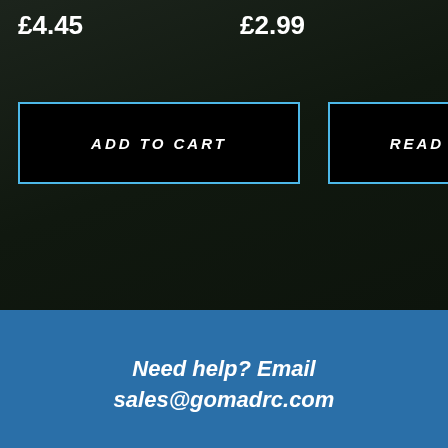£4.45
£2.99
ADD TO CART
READ MORE
Need help? Email sales@gomadrc.com
We use cookies on our website to give you the most relevant experience by remembering your preferences and repeat visits. By clicking “Accept All”, you consent to the use of ALL the cookies. However, you may visit “Cookie Settings” to provide a controlled consent.
Cookie Settings
Accept All